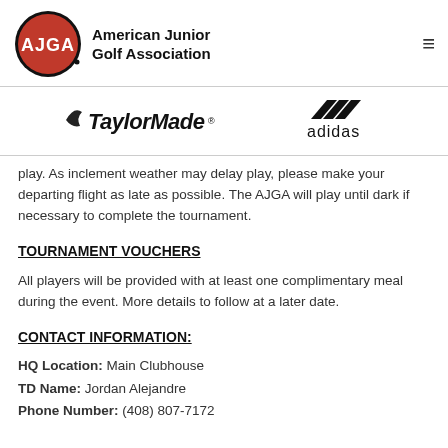[Figure (logo): AJGA oval red logo with white AJGA text]
American Junior Golf Association
[Figure (logo): TaylorMade logo in black italic text with wing icon]
[Figure (logo): Adidas logo with three stripes above adidas text]
play. As inclement weather may delay play, please make your departing flight as late as possible. The AJGA will play until dark if necessary to complete the tournament.
TOURNAMENT VOUCHERS
All players will be provided with at least one complimentary meal during the event. More details to follow at a later date.
CONTACT INFORMATION:
HQ Location: Main Clubhouse
TD Name: Jordan Alejandre
Phone Number: (408) 807-7172